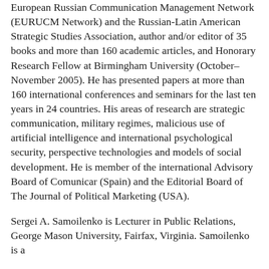European Russian Communication Management Network (EURUCM Network) and the Russian-Latin American Strategic Studies Association, author and/or editor of 35 books and more than 160 academic articles, and Honorary Research Fellow at Birmingham University (October–November 2005). He has presented papers at more than 160 international conferences and seminars for the last ten years in 24 countries. His areas of research are strategic communication, military regimes, malicious use of artificial intelligence and international psychological security, perspective technologies and models of social development. He is member of the international Advisory Board of Comunicar (Spain) and the Editorial Board of The Journal of Political Marketing (USA).
Sergei A. Samoilenko is Lecturer in Public Relations, George Mason University, Fairfax, Virginia. Samoilenko is a